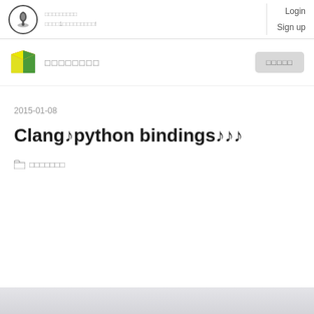Login Sign up
[Figure (logo): Site logo with book/M icon and site name in Japanese]
2015-01-08
Clangのpython bindingsを使う
プログラミング